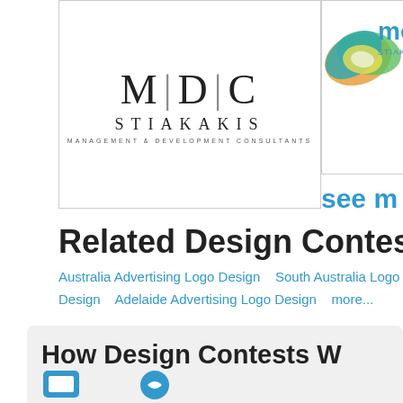[Figure (logo): MDC Stiakakis Management & Development Consultants logo — letters M|D|C in large serif font with STIAKAKIS below and small subtitle text]
[Figure (logo): Partially visible circular orb logo in teal/green/yellow with 'mo' text and 'STIAK' text (truncated), colored in teal blue]
see m
Related Design Contests
Australia Advertising Logo Design    South Australia Logo D Design    Adelaide Advertising Logo Design    more...
How Design Contests W